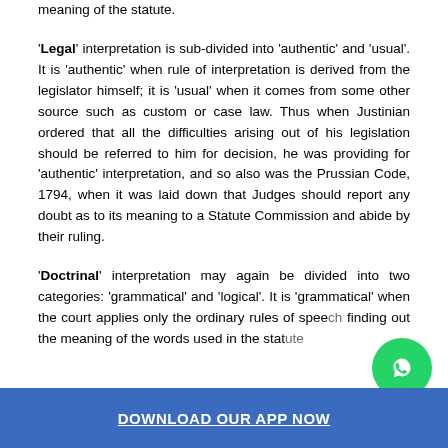meaning of the statute.
'Legal' interpretation is sub-divided into 'authentic' and 'usual'. It is 'authentic' when rule of interpretation is derived from the legislator himself; it is 'usual' when it comes from some other source such as custom or case law. Thus when Justinian ordered that all the difficulties arising out of his legislation should be referred to him for decision, he was providing for 'authentic' interpretation, and so also was the Prussian Code, 1794, when it was laid down that Judges should report any doubt as to its meaning to a Statute Commission and abide by their ruling.
'Doctrinal' interpretation may again be divided into two categories: 'grammatical' and 'logical'. It is 'grammatical' when the court applies only the ordinary rules of speech in finding out the meaning of the words used in the stat...
DOWNLOAD OUR APP NOW